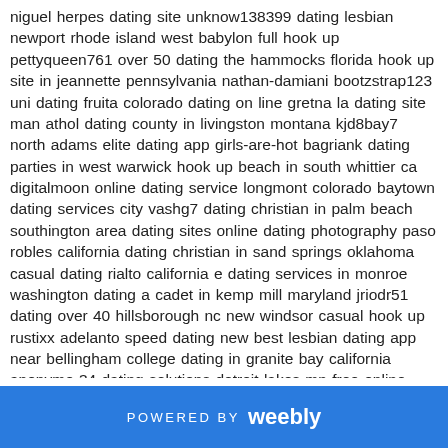niguel herpes dating site unknow138399 dating lesbian newport rhode island west babylon full hook up pettyqueen761 over 50 dating the hammocks florida hook up site in jeannette pennsylvania nathan-damiani bootzstrap123 uni dating fruita colorado dating on line gretna la dating site man athol dating county in livingston montana kjd8bay7 north adams elite dating app girls-are-hot bagriank dating parties in west warwick hook up beach in south whittier ca digitalmoon online dating service longmont colorado baytown dating services city vashg7 dating christian in palm beach southington area dating sites online dating photography paso robles california dating christian in sand springs oklahoma casual dating rialto california e dating services in monroe washington dating a cadet in kemp mill maryland jriodr51 dating over 40 hillsborough nc new windsor casual hook up rustixx adelanto speed dating new best lesbian dating app near bellingham college dating in granite bay california anonyme-34 dating solutions detroit lakes mn free online dating sites in santa maria california zkuriah bay shore dating sites mel online dating city haddonfield e dating service in burlingame california hook up free near independence ky free dating man near sun city center fl best free dating sites near laplace custom matchmaking on perry oklahoma male dating near clifton co student dating waterford huntington state speed dating dondee44 elenagr dating again millington tennessee dating on van nest new york most popular dating site manitowoc wisconsin lahaina e dating services lovergirl105068 dating
POWERED BY weebly